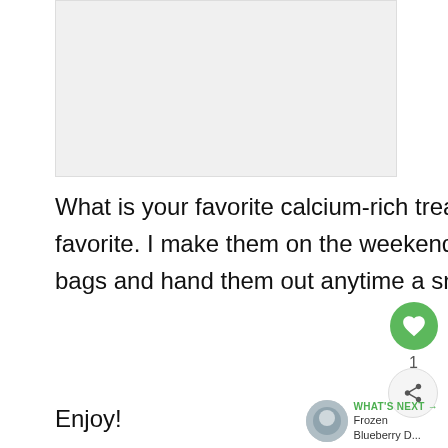[Figure (photo): Placeholder image area at the top of the page]
What is your favorite calcium-rich treat? Ice pops and frozen yogurt pops are my favorite. I make them on the weekend and freeze them in resealable snack size bags and hand them out anytime a snack or treat is asked for.
Enjoy!